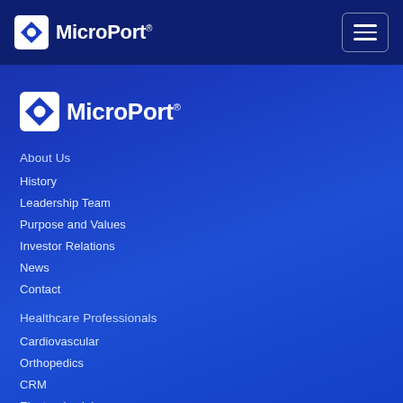[Figure (logo): MicroPort logo in top navigation bar - compass-like icon with white square and blue diamond, followed by MicroPort text]
[Figure (logo): MicroPort secondary logo in main content area - larger version of same logo]
About Us
History
Leadership Team
Purpose and Values
Investor Relations
News
Contact
Healthcare Professionals
Cardiovascular
Orthopedics
CRM
Electrophysiology
Endovascular
Neurovascular
Surgical Robots
Others